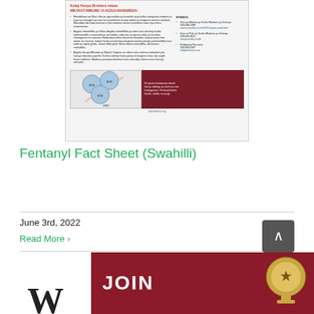[Figure (screenshot): Thumbnail of a Fentanyl Fact Sheet document in Swahili, showing pill images, text columns, and a dark red warning box with salemitatizer.org URL]
Fentanyl Fact Sheet (Swahilli)
June 3rd, 2022
Read More
[Figure (infographic): Bottom banner showing organization logo letters 'W' and a dark red JOIN section with a trophy/medal graphic]